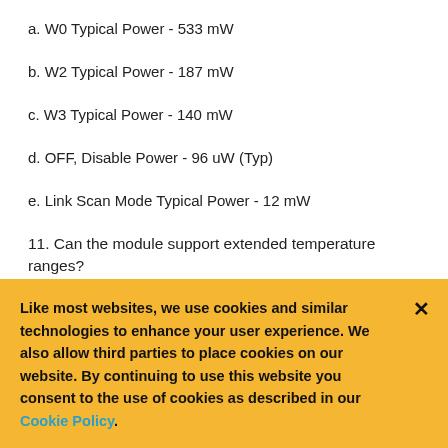a. W0 Typical Power - 533 mW
b. W2 Typical Power - 187 mW
c. W3 Typical Power - 140 mW
d. OFF, Disable Power - 96 uW (Typ)
e. Link Scan Mode Typical Power - 12 mW
11. Can the module support extended temperature ranges?
Like most websites, we use cookies and similar technologies to enhance your user experience. We also allow third parties to place cookies on our website. By continuing to use this website you consent to the use of cookies as described in our Cookie Policy.